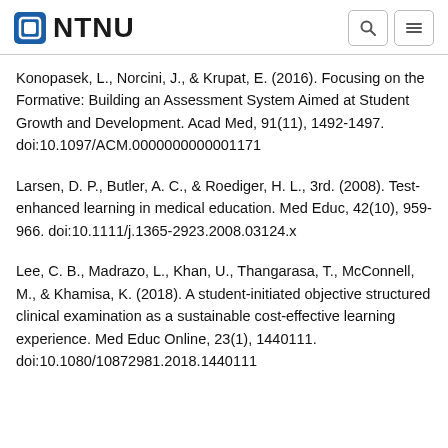NTNU
Konopasek, L., Norcini, J., & Krupat, E. (2016). Focusing on the Formative: Building an Assessment System Aimed at Student Growth and Development. Acad Med, 91(11), 1492-1497. doi:10.1097/ACM.0000000000001171
Larsen, D. P., Butler, A. C., & Roediger, H. L., 3rd. (2008). Test-enhanced learning in medical education. Med Educ, 42(10), 959-966. doi:10.1111/j.1365-2923.2008.03124.x
Lee, C. B., Madrazo, L., Khan, U., Thangarasa, T., McConnell, M., & Khamisa, K. (2018). A student-initiated objective structured clinical examination as a sustainable cost-effective learning experience. Med Educ Online, 23(1), 1440111. doi:10.1080/10872981.2018.1440111